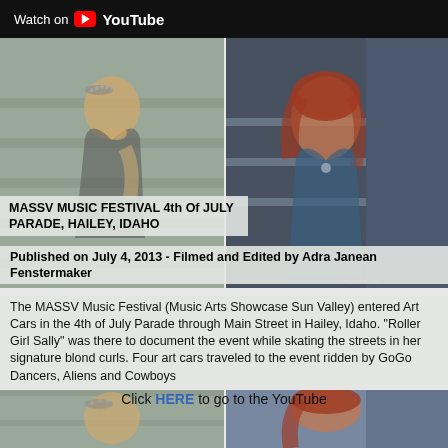[Figure (screenshot): YouTube 'Watch on YouTube' banner at top, dark background]
[Figure (photo): Two-column photo grid: left photo shows a woman with a headpiece sitting on stairs looking up; right photo shows a woman with red/auburn hair in a blue top on stairs]
MASSV MUSIC FESTIVAL 4th Of JULY PARADE, HAILEY, IDAHO
Published on July 4, 2013 - Filmed and Edited by Adra Janean Fenstermaker
The MASSV Music Festival (Music Arts Showcase Sun Valley) entered Art Cars in the 4th of July Parade through Main Street in Hailey, Idaho. "Roller Girl Sally" was there to document the event while skating the streets in her signature blond curls. Four art cars traveled to the event ridden by GoGo Dancers, Aliens and Cowboys
Click HERE to go to the YouTube
[Figure (photo): Two-column photo grid bottom: left photo woman with headpiece on stairs (same as top left, partial), right photo woman with red hair (same as top right, partial)]